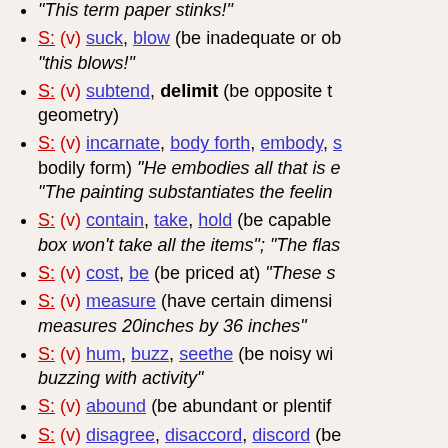S: (v) suck, blow (be inadequate or ob... "this blows!"
S: (v) subtend, delimit (be opposite to... geometry)
S: (v) incarnate, body forth, embody, s... bodily form) "He embodies all that is e... "The painting substantiates the feeling...
S: (v) contain, take, hold (be capable... box won't take all the items"; "The flas...
S: (v) cost, be (be priced at) "These s...
S: (v) measure (have certain dimensi... measures 20inches by 36 inches"
S: (v) hum, buzz, seethe (be noisy wi... buzzing with activity"
S: (v) abound (be abundant or plentif...
S: (v) disagree, disaccord, discord (be...
S: (v) gape, yawn, yaw (be wide oper...
S: (v) tend, be given, lean, incline, run... disposition to do or be something; be... nervous before her lectures"; "These... inclined to corpulence"
S: (v) run, go (have a particular form)... as follows"; "as the saying goes..."
S: (v) figure, enter (be or play a part c...